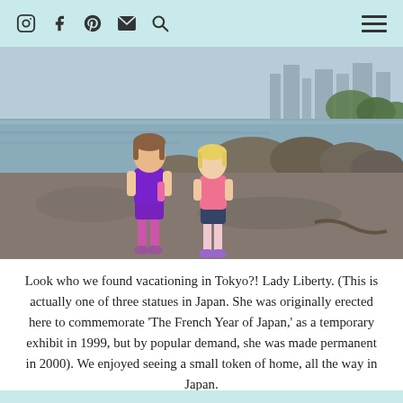Social media icons: Instagram, Facebook, Pinterest, Email, Search; Hamburger menu
[Figure (photo): Two young girls standing on rocky shoreline in Tokyo. The girl on the left wears a purple shirt and pink leggings with a pink water bottle, the girl on the right wears a pink shirt and dark shorts with purple shoes. Rocky coast and city skyline in background.]
Look who we found vacationing in Tokyo?! Lady Liberty. (This is actually one of three statues in Japan. She was originally erected here to commemorate ‘The French Year of Japan,’ as a temporary exhibit in 1999, but by popular demand, she was made permanent in 2000). We enjoyed seeing a small token of home, all the way in Japan.